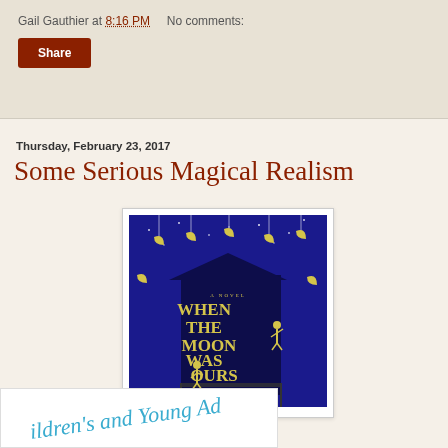Gail Gauthier at 8:16 PM    No comments:
Share
Thursday, February 23, 2017
Some Serious Magical Realism
[Figure (illustration): Book cover of 'When the Moon Was Ours' by Anna-Marie McLemore. Purple/blue night sky with hanging crescent moons, a silhouetted building, and two golden figures.]
[Figure (illustration): Partial circular badge or logo with teal/cyan text reading 'children's and Young Ad...' curved in an arc]